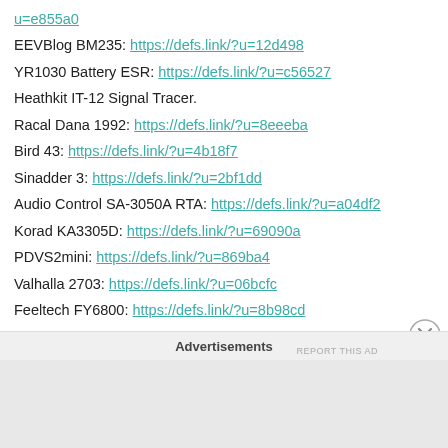u=e855a0 (link)
EEVBlog BM235: https://defs.link/?u=12d498
YR1030 Battery ESR: https://defs.link/?u=c56527
Heathkit IT-12 Signal Tracer.
Racal Dana 1992: https://defs.link/?u=8eeeba
Bird 43: https://defs.link/?u=4b18f7
Sinadder 3: https://defs.link/?u=2bf1dd
Audio Control SA-3050A RTA: https://defs.link/?u=a04df2
Korad KA3305D: https://defs.link/?u=69090a
PDVS2mini: https://defs.link/?u=869ba4
Valhalla 2703: https://defs.link/?u=06bcfc
Feeltech FY6800: https://defs.link/?u=8b98cd
http://defs.link/?u=34d101
Eakins Microscope: https://defs.link/?u=b0278b
https://defs.link/?u=... (cut off)
Advertisements